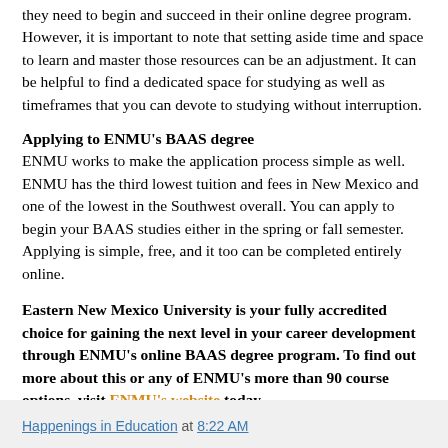they need to begin and succeed in their online degree program. However, it is important to note that setting aside time and space to learn and master those resources can be an adjustment. It can be helpful to find a dedicated space for studying as well as timeframes that you can devote to studying without interruption.
Applying to ENMU's BAAS degree
ENMU works to make the application process simple as well. ENMU has the third lowest tuition and fees in New Mexico and one of the lowest in the Southwest overall. You can apply to begin your BAAS studies either in the spring or fall semester. Applying is simple, free, and it too can be completed entirely online.
Eastern New Mexico University is your fully accredited choice for gaining the next level in your career development through ENMU's online BAAS degree program. To find out more about this or any of ENMU's more than 90 course options, visit ENMU's website today.
Happenings in Education at 8:22 AM